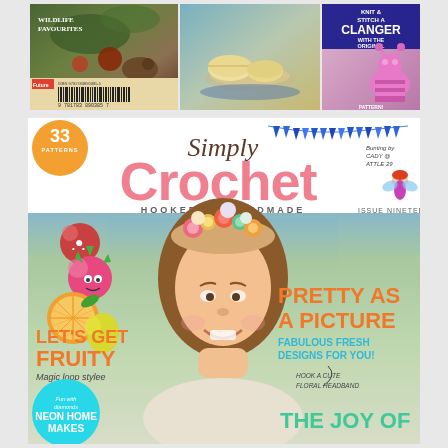[Figure (photo): Top strip showing three magazine/book covers: a wildlife book with barcode, a food photography image with bread rolls, and a Clangers knitting/crochet magazine cover with text 'Knit & Stitch a Clanger with the original pattern!']
[Figure (photo): Simply Crochet magazine cover, Issue Nineteen £4.99. Features 33 patterns badge, title 'Simply Crochet - Hooked on Handmade', bunting decoration, crocheted fruit characters, a woman with a floral headband crown. Text includes: LET'S GET FRUITY (Magic loop stylee), PRETTY AS A PICTURE, FABULOUS FRESH DESIGNS FOR YOU!, Hook a cute floral headband, NEON HOME MAKES, THE JOY OF...]